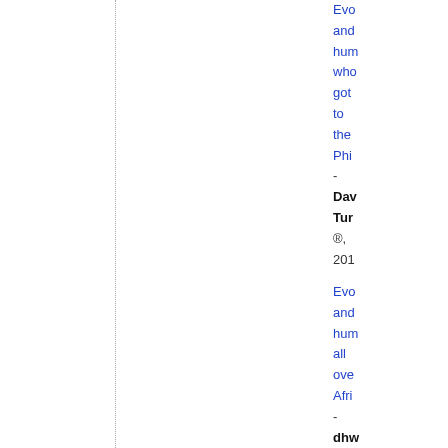Evo and hum who got to the Phi
-
Dav Tur ®, 201
Evo and hum all ove Afri
-
dhw ®, 201